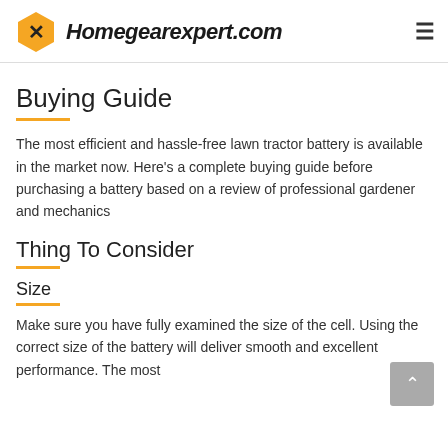Homegearexpert.com
Buying Guide
The most efficient and hassle-free lawn tractor battery is available in the market now. Here's a complete buying guide before purchasing a battery based on a review of professional gardener and mechanics
Thing To Consider
Size
Make sure you have fully examined the size of the cell. Using the correct size of the battery will deliver smooth and excellent performance. The most